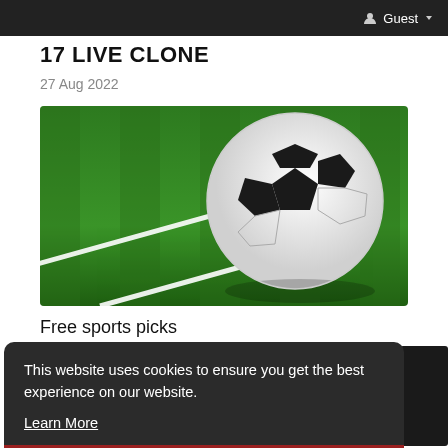Guest
17 LIVE CLONE
27 Aug 2022
[Figure (photo): A soccer ball resting on green grass near the white line markings of a football pitch]
Free sports picks
This website uses cookies to ensure you get the best experience on our website. Learn More
Got It!
Fluxactive Reviews! Benefits